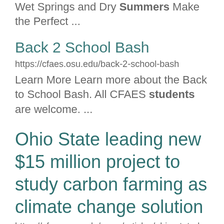Wet Springs and Dry Summers Make the Perfect ...
Back 2 School Bash
https://cfaes.osu.edu/back-2-school-bash
Learn More Learn more about the Back to School Bash. All CFAES students are welcome. ...
Ohio State leading new $15 million project to study carbon farming as climate change solution
https://cfaes.osu.edu/news/articles/ohio-state-leading-new-15-million-project-study-carbon-farming-climate-change-solution
...addition to Ohio State, the other...